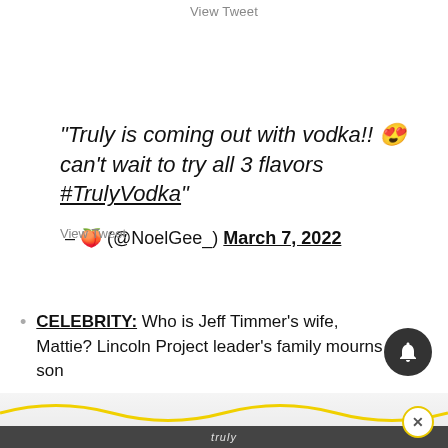View Tweet
“Truly is coming out with vodka!! 😍 can’t wait to try all 3 flavors #TrulyVodka”
– 🍑 (@NoelGee_) March 7, 2022
CELEBRITY: Who is Jeff Timmer’s wife, Mattie? Lincoln Project leader’s family mourns son